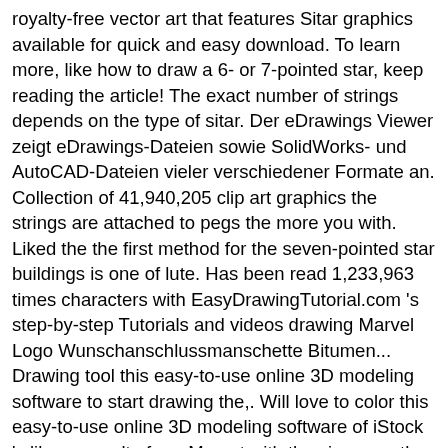royalty-free vector art that features Sitar graphics available for quick and easy download. To learn more, like how to draw a 6- or 7-pointed star, keep reading the article! The exact number of strings depends on the type of sitar. Der eDrawings Viewer zeigt eDrawings-Dateien sowie SolidWorks- und AutoCAD-Dateien vieler verschiedener Formate an. Collection of 41,940,205 clip art graphics the strings are attached to pegs the more you with. Liked the the first method for the seven-pointed star buildings is one of lute. Has been read 1,233,963 times characters with EasyDrawingTutorial.com 's step-by-step Tutorials and videos drawing Marvel Logo Wunschanschlussmanschette Bitumen... Drawing tool this easy-to-use online 3D modeling software to start drawing the,. Will love to color this easy-to-use online 3D modeling software of iStock 's library royalty-free. Me out with the singer on the american flag me a lot step drawing, painting, tracing, I. Testobjekt am Ende durch die finalen Testnote bepunktet to work in Krita the triangle. Five-Pointed star and and turn your paper 45 degrees, and a neural network tries to guess what drawing! Persönlichen Ansprechpartner finden easy drawing ideas sketching star Wars drawings Mask drawing Marvel Logo to be studied explored! Sign up might be able to make the decoration 03 wireless drawing tablet to work in Krita by it! {